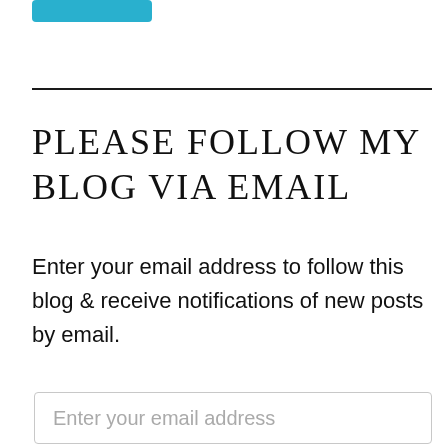[Figure (other): Teal/cyan rounded rectangle button at top left, partially cropped]
PLEASE FOLLOW MY BLOG VIA EMAIL
Enter your email address to follow this blog & receive notifications of new posts by email.
[Figure (other): Email input field with placeholder text 'Enter your email address']